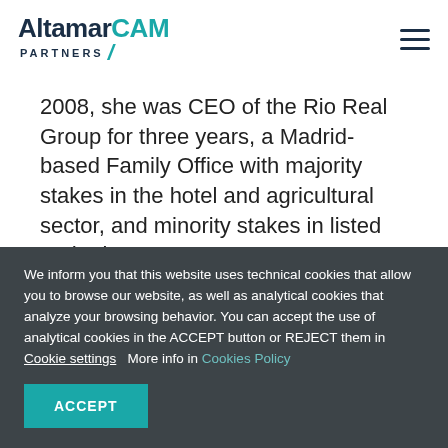AltamarCAM Partners
2008, she was CEO of the Rio Real Group for three years, a Madrid-based Family Office with majority stakes in the hotel and agricultural sector, and minority stakes in listed and private
We inform you that this website uses technical cookies that allow you to browse our website, as well as analytical cookies that analyze your browsing behavior. You can accept the use of analytical cookies in the ACCEPT button or REJECT them in Cookie settings   More info in Cookies Policy